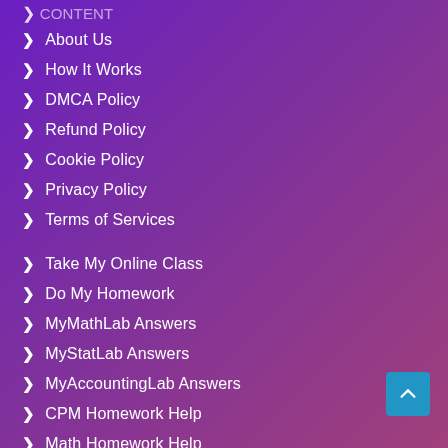About Us
How It Works
DMCA Policy
Refund Policy
Cookie Policy
Privacy Policy
Terms of Services
Take My Online Class
Do My Homework
MyMathLab Answers
MyStatLab Answers
MyAccountingLab Answers
CPM Homework Help
Math Homework Help